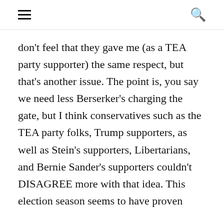≡   🔍
don't feel that they gave me (as a TEA party supporter) the same respect, but that's another issue. The point is, you say we need less Berserker's charging the gate, but I think conservatives such as the TEA party folks, Trump supporters, as well as Stein's supporters, Libertarians, and Bernie Sander's supporters couldn't DISAGREE more with that idea. This election season seems to have proven